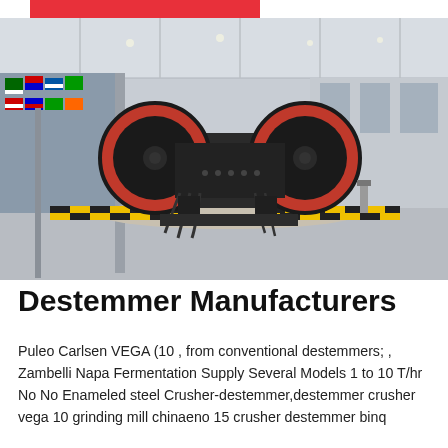[Figure (photo): A large industrial jaw crusher machine displayed in a spacious exhibition hall decorated with international flags. The machine is black with two large red-rimmed flywheels, placed on a gravel bed surrounded by yellow and black striped safety barriers. The hall has a high ceiling with modern lighting.]
Destemmer Manufacturers
Puleo Carlsen VEGA (10 , from conventional destemmers; , Zambelli Napa Fermentation Supply Several Models 1 to 10 T/hr No No Enameled steel Crusher-destemmer,destemmer crusher vega 10 grinding mill chinaeno 15 crusher destemmer binq